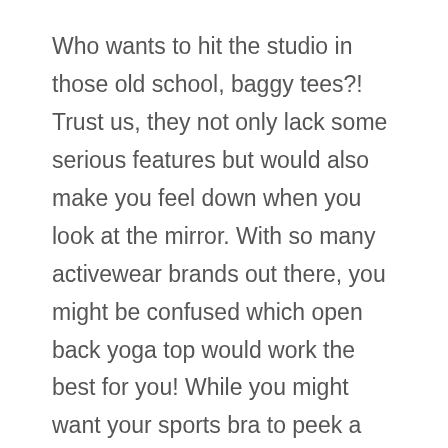Who wants to hit the studio in those old school, baggy tees?! Trust us, they not only lack some serious features but would also make you feel down when you look at the mirror. With so many activewear brands out there, you might be confused which open back yoga top would work the best for you! While you might want your sports bra to peek a little, you again might not want a surplus amount of skin show.
We know how the right gear can play a major role in your yoga lessons, and thus we have picked the top 6 open back yoga tops that have multiple amazing features. If you wear something that rides